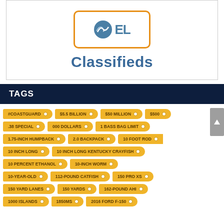[Figure (logo): OEL logo with mountain/fish icon inside orange rounded rectangle border]
Classifieds
TAGS
#COASTGUARD
$5.5 BILLION
$50 MILLION
$500
.38 SPECIAL
000 DOLLARS
1 BASS BAG LIMIT
1.75-INCH HUMPBACK
2.0 BACKPACK
10 FOOT ROD
10 INCH LONG
10 INCH LONG KENTUCKY CRAYFISH
10 PERCENT ETHANOL
10-INCH WORM
10-YEAR-OLD
112-POUND CATFISH
150 PRO XS
150 YARD LANES
150 YARDS
162-POUND AHI
1000 ISLANDS
1850MS
2016 FORD F-150